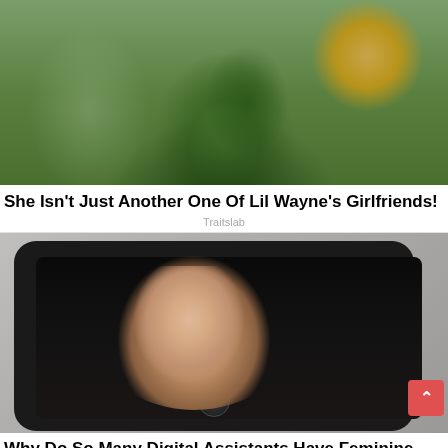[Figure (photo): Woman in green dress, upper body, interior background with window and decorative stained glass]
She Isn't Just Another One Of Lil Wayne's Girlfriends!
Traitslab
[Figure (photo): Surreal art photo of a woman's face emerging from a black smartphone screen, on gray background]
Why Do So Many Digital Assistants Have Feminine Names & Voices?